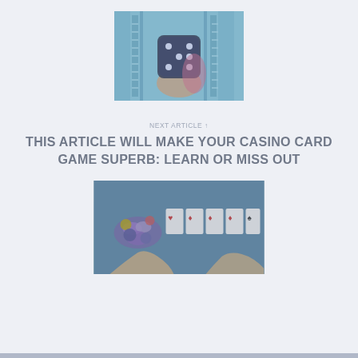[Figure (photo): A person holding a large dark dice in a neon/futuristic blue-lit environment]
NEXT ARTICLE →
THIS ARTICLE WILL MAKE YOUR CASINO CARD GAME SUPERB: LEARN OR MISS OUT
[Figure (photo): Hands handling casino chips and playing cards on a blue card table]